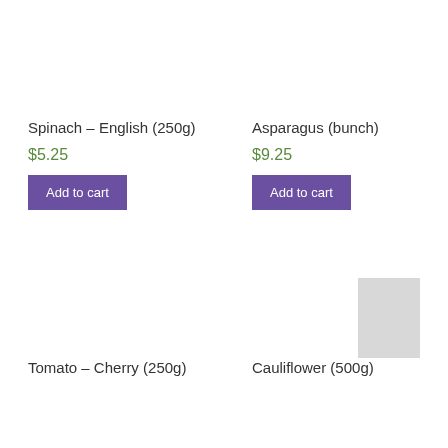Spinach – English (250g)
$5.25
Add to cart
Asparagus (bunch)
$9.25
Add to cart
Tomato – Cherry (250g)
Cauliflower (500g)